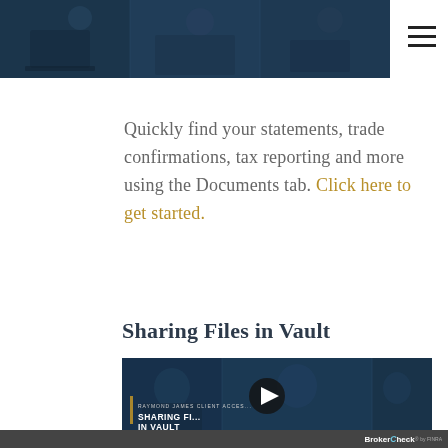[Figure (photo): Dark blue tinted collage photo showing people working at desks with laptops, used as a header banner image]
Quickly find your statements, trade confirmations, tax reporting and more using the Documents tab. Click here to get started.
Sharing Files in Vault
[Figure (screenshot): Video thumbnail for Raymond James Client Access 'Sharing Files in Vault' video with a play button overlay. Shows people in a business meeting setting with dark blue overlay. Text reads 'RAYMOND JAMES CLIENT ACCESS' and 'SHARING FILES IN VAULT'.]
BrokerCheck FINRA